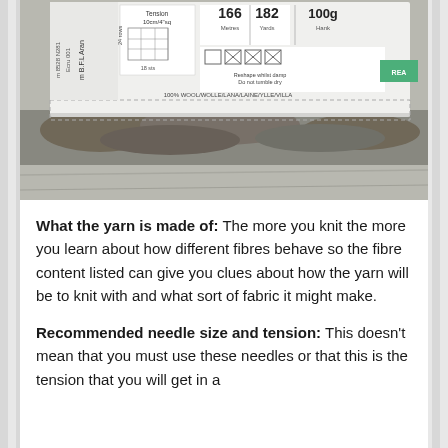[Figure (photo): Close-up photograph of a yarn label for 'B.F.L Aran' wool, showing details including tension (10cm/4"sq, 24 rows, 18 sts), yardage (166 Metres, 182 Yards), weight (100g Hank), care instructions, and '100% WOOL/WOLLE/LANA/LAINE/YLLE/VILLA'. The label is placed on top of raw wool fleece on a wooden surface.]
What the yarn is made of: The more you knit the more you learn about how different fibres behave so the fibre content listed can give you clues about how the yarn will be to knit with and what sort of fabric it might make.
Recommended needle size and tension: This doesn't mean that you must use these needles or that this is the tension that you will get in a